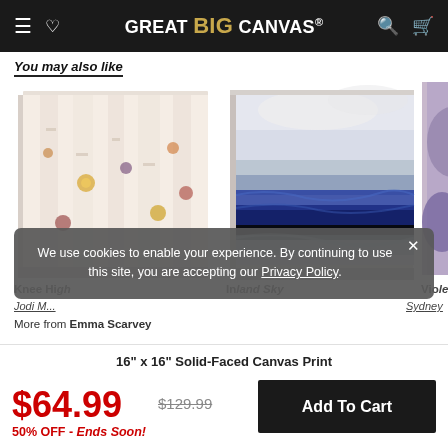GREAT BIG CANVAS.
You may also like
[Figure (photo): Canvas print of abstract birch trees with colorful floral details]
[Figure (photo): Canvas print of abstract ocean/sea scene in blue and white tones]
[Figure (photo): Partial view of a canvas print with purple/violet tones]
We use cookies to enable your experience. By continuing to use this site, you are accepting our Privacy Policy.
Knee High
Inland Sky
Violet
Jodi M...
Sydney
More from Emma Scarvey
16" x 16" Solid-Faced Canvas Print
$64.99
$129.99
50% OFF - Ends Soon!
Add To Cart